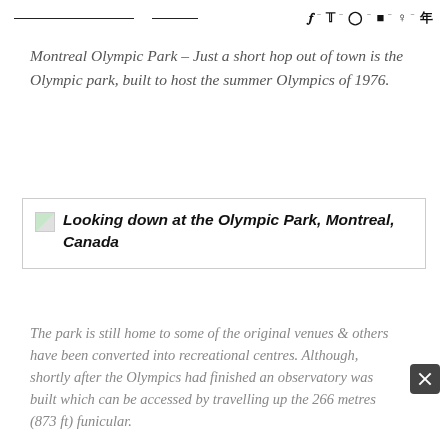Social icons header with navigation lines and social media icons: f, twitter, instagram, youtube, pinterest, flipboard
Montreal Olympic Park – Just a short hop out of town is the Olympic park, built to host the summer Olympics of 1976.
[Figure (photo): Broken image placeholder with caption: Looking down at the Olympic Park, Montreal, Canada]
The park is still home to some of the original venues & others have been converted into recreational centres. Although, shortly after the Olympics had finished an observatory was built which can be accessed by travelling up the 266 metres (873 ft) funicular.